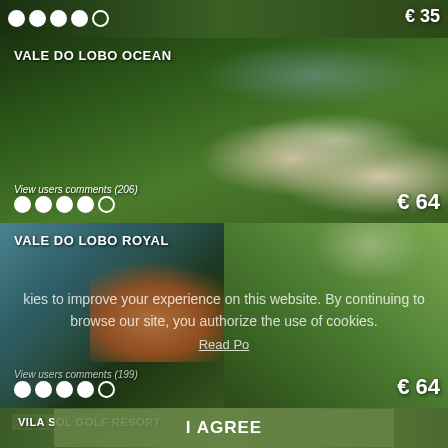[Figure (photo): Top strip showing golf course aerial view with rating dots and price € 35]
[Figure (photo): Aerial photo of Vale do Lobo Ocean golf course with coastal dunes and water features]
VALE DO LOBO OCEAN
View users comments (206)
€ 64
[Figure (photo): Aerial photo of Vale do Lobo Royal golf course with cliffs and coastal views]
VALE DO LOBO ROYAL
View users comments (199)
€ 64
kies to improve your experience on this website. By continuing to browse our site, you authorize the use of cookies.
Read Po
[Figure (photo): Aerial view of Vila Sol Golf Resort with tall pine trees]
VILA SOL GOLF RESORT
I AGREE